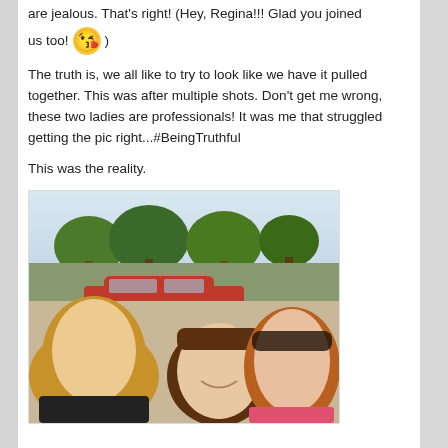are jealous. That's right! (Hey, Regina!!! Glad you joined us too! 😘 )
The truth is, we all like to try to look like we have it pulled together. This was after multiple shots. Don't get me wrong, these two ladies are professionals! It was me that struggled getting the pic right...#BeingTruthful
This was the reality.
[Figure (photo): Three women taking a selfie outdoors in a parking lot with trees and a red car visible in the background. The woman on the left has reddish-brown hair, the woman in the center has short brown hair, and the woman on the right has reddish hair and is wearing sunglasses.]